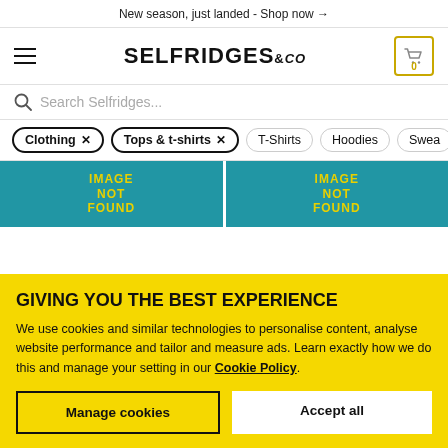New season, just landed - Shop now →
[Figure (logo): Selfridges & Co logo with hamburger menu and cart icon showing 0 items]
Search Selfridges...
Clothing × Tops & t-shirts × T-Shirts Hoodies Swea
[Figure (photo): Two product images with blue backgrounds showing IMAGE NOT FOUND placeholder text in yellow]
GIVING YOU THE BEST EXPERIENCE
We use cookies and similar technologies to personalise content, analyse website performance and tailor and measure ads. Learn exactly how we do this and manage your setting in our Cookie Policy.
Manage cookies
Accept all